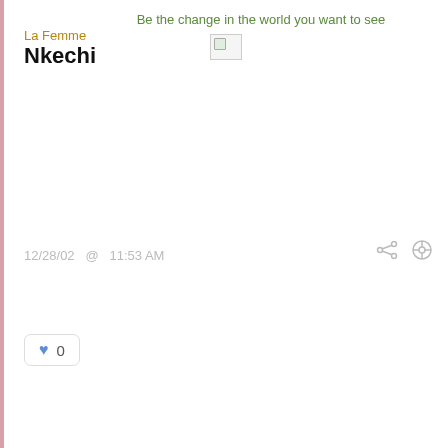Be the change in the world you want to see
La Femme
Nkechi
12/28/02  @  11:53 AM
♥ 0
Souljah (Guest)
I didn't know that this article would cause such a range of debate. I really didn't think anyone would be interested in this discussion. However, on the integrationist point the original author brought out in her article, I'd like to expound on it a bit in the context of American history. Through the forced segregation of the black masses since their arrival in this hemisphere